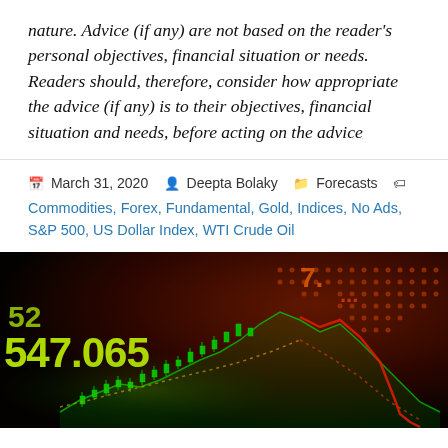nature. Advice (if any) are not based on the reader's personal objectives, financial situation or needs. Readers should, therefore, consider how appropriate the advice (if any) is to their objectives, financial situation and needs, before acting on the advice
March 31, 2020   Deepta Bolaky   Forecasts   Commodities, Forex, Fundamental, Gold, Indices, No Ads, S&P 500, US Dollar Index, WTI Crude Oil
[Figure (photo): Financial market data visualization showing glowing yellow-green stock chart candlestick patterns overlaid on a world map with orange/red illuminated dots, with ticker numbers 547.065 visible in bright yellow-green against a dark background]